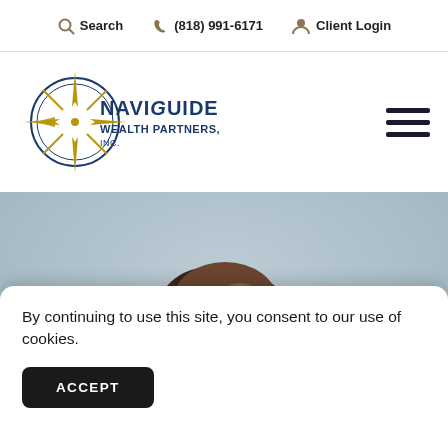Search  (818) 991-6171  Client Login
[Figure (logo): NaviGuide Wealth Partners, Inc. logo with compass rose graphic in blue and gold]
[Figure (photo): Close-up photo of a person with glasses from behind, blurred background, used as hero banner image]
By continuing to use this site, you consent to our use of cookies.
ACCEPT